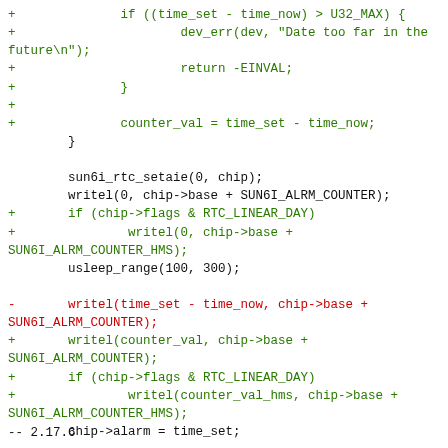Code diff showing RTC alarm counter logic with added bounds checking and counter_val variable usage
--
2.17.6